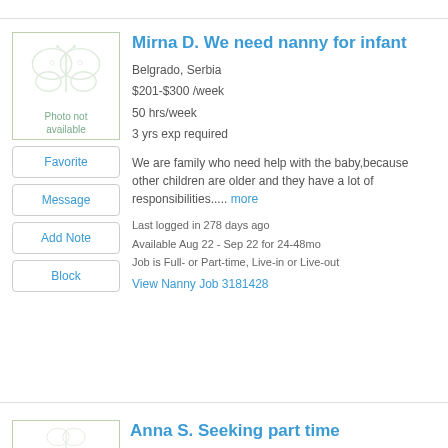[Figure (illustration): Placeholder image with butterfly watermark and text 'Photo not available']
Mirna D. We need nanny for infant
Belgrado, Serbia
$201-$300 /week
50 hrs/week
3 yrs exp required
Favorite
Message
Add Note
Block
We are family who need help with the baby,because other children are older and they have a lot of responsibilities..... more
Last logged in 278 days ago
Available Aug 22 - Sep 22 for 24-48mo
Job is Full- or Part-time, Live-in or Live-out
View Nanny Job 3181428
Anna S. Seeking part time